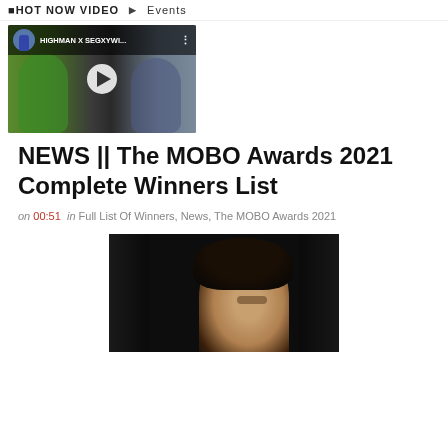HOT NOW VIDEO   Events
[Figure (screenshot): YouTube-style video thumbnail showing two dancers, one in a green hoodie and one in a blue striped shirt, with title 'HIGHMAN X SEGXYWI...' and a play button overlay]
NEWS || The MOBO Awards 2021 Complete Winners List
on 00:51  in Full List Of Winners, News, The MOBO Awards 2021
[Figure (photo): Dark background photo showing a person with curly hair, partially visible from the bottom of the page]